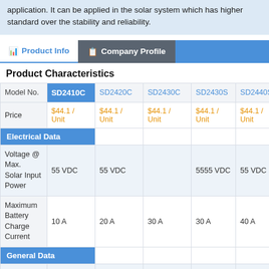application. It can be applied in the solar system which has higher standard over the stability and reliability.
Product Characteristics
| Model No. | SD2410C | SD2420C | SD2430C | SD2430S | SD2440S |
| --- | --- | --- | --- | --- | --- |
| Price | $44.1 / Unit | $44.1 / Unit | $44.1 / Unit | $44.1 / Unit | $44.1 / Unit |
| Electrical Data |  |  |  |  |  |
| Voltage @ Max. Solar Input Power | 55 VDC | 55 VDC |  | 5555 VDC | 55 VDC |
| Maximum Battery Charge Current | 10 A | 20 A | 30 A | 30 A | 40 A |
| General Data |  |  |  |  |  |
| Dimensions | 190x108x41.5 | 190x108x41.5 | 190x108x41.5 | 200x98x47.5 |  |